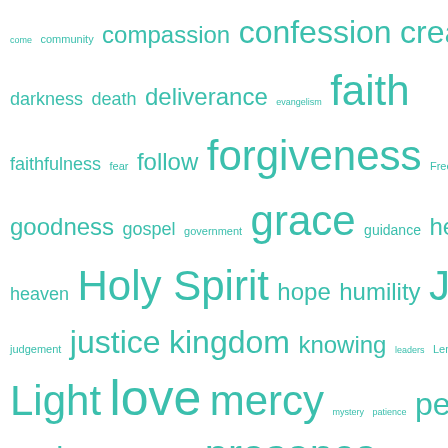[Figure (infographic): A word cloud of Christian/religious themed words in teal/turquoise color. Words appear in varying font sizes indicating frequency/importance. Words include: come, community, compassion, confession, creation, darkness, death, deliverance, evangelism, faith, faithfulness, fear, follow, forgiveness, Freedom, glory, goodness, gospel, government, grace, guidance, healing, heaven, Holy Spirit, hope, humility, Jesus, joy, judgement, justice, kingdom, knowing, leaders, Lent, life, Light, love, mercy, mystery, patience, peace, poor, praise, prayer, presence, promise, protection, reconcile, renew, repentance, rest, resurrection, sacrifice, salvation, seek, service, shepherd, sin, soul, suffering, thanksgiving, Trinity, trust, truth, Unity, wisdom, Word, work, worship]